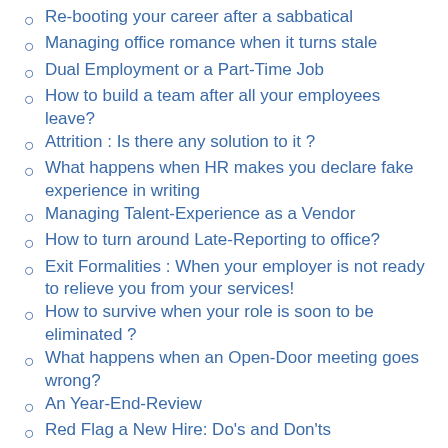Re-booting your career after a sabbatical
Managing office romance when it turns stale
Dual Employment or a Part-Time Job
How to build a team after all your employees leave?
Attrition : Is there any solution to it ?
What happens when HR makes you declare fake experience in writing
Managing Talent-Experience as a Vendor
How to turn around Late-Reporting to office?
Exit Formalities : When your employer is not ready to relieve you from your services!
How to survive when your role is soon to be eliminated ?
What happens when an Open-Door meeting goes wrong?
An Year-End-Review
Red Flag a New Hire: Do's and Don'ts
How to Run An Effective Conference